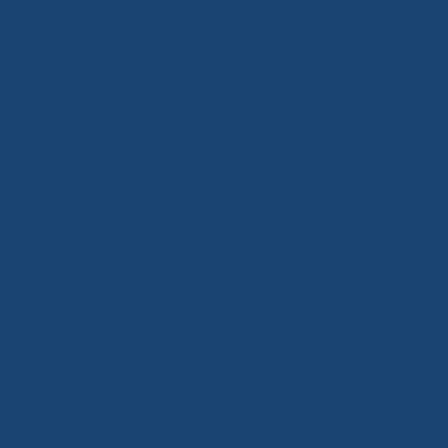are faced with those who want to kill them.
[Figure (illustration): Cartoon icon of a pink triangle character wearing glasses with a tongue sticking out, on a beige/tan square background with rounded corners]
P